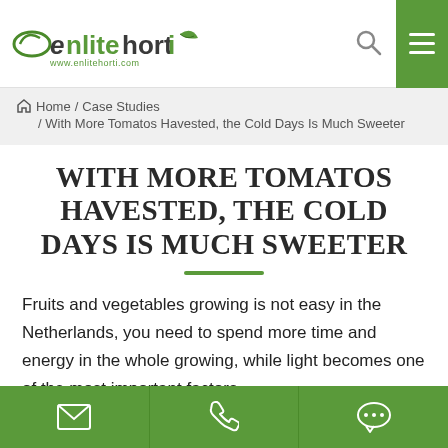Enlitehorti — www.enlitehorti.com
Home / Case Studies / With More Tomatos Havested, the Cold Days Is Much Sweeter
WITH MORE TOMATOS HAVESTED, THE COLD DAYS IS MUCH SWEETER
Fruits and vegetables growing is not easy in the Netherlands, you need to spend more time and energy in the whole growing, while light becomes one of the most important factors.
Email | Phone | Chat